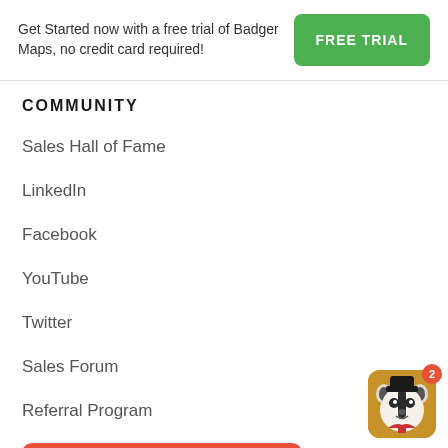Get Started now with a free trial of Badger Maps, no credit card required!
[Figure (other): Green FREE TRIAL button]
COMMUNITY
Sales Hall of Fame
LinkedIn
Facebook
YouTube
Twitter
Sales Forum
Referral Program
[Figure (other): Red FREE TRIAL button]
[Figure (illustration): Badger Maps mascot icon with red badge showing number 2]